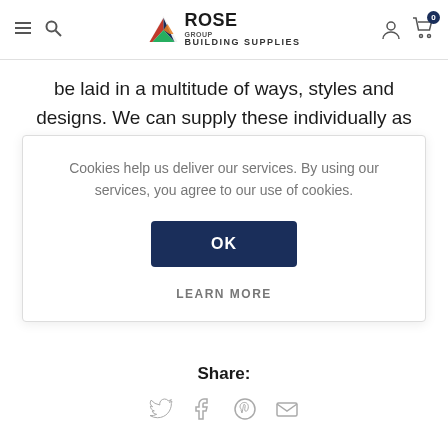Rose Group Building Supplies – navigation header with logo, hamburger, search, account, cart (0)
be laid in a multitude of ways, styles and designs. We can supply these individually as well as full packs.
Cookies help us deliver our services. By using our services, you agree to our use of cookies.
OK
LEARN MORE
Share:
[Figure (infographic): Social share icons: Twitter bird, Facebook f, Pinterest P, envelope/email]